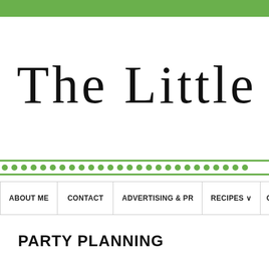The Little Thing
[Figure (illustration): Decorative border with two solid green horizontal lines and a row of green dots between them]
ABOUT ME | CONTACT | ADVERTISING & PR | RECIPES | CRA
PARTY PLANNING